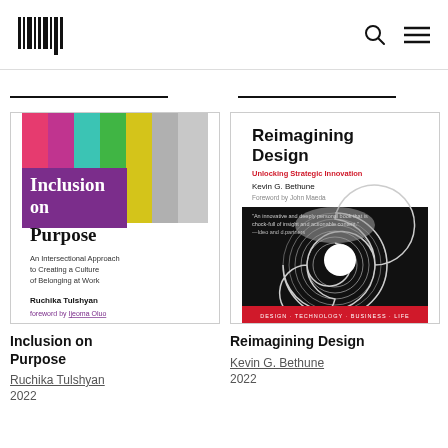MIT Press logo, search icon, menu icon
[Figure (illustration): Book cover: Inclusion on Purpose — colorful vertical stripes (pink, magenta, teal, green, yellow, gray) with bold text 'Inclusion on Purpose' and subtitle 'An Intersectional Approach to Creating a Culture of Belonging at Work' by Ruchika Tulshyan, foreword by Ijeoma Oluo]
[Figure (illustration): Book cover: Reimagining Design — white top section with title 'Reimagining Design', subtitle 'Unlocking Strategic Innovation' in red, author 'Kevin G. Bethune', bottom half black with swirling spiral graphic]
Inclusion on Purpose
Reimagining Design
Ruchika Tulshyan
2022
Kevin G. Bethune
2022